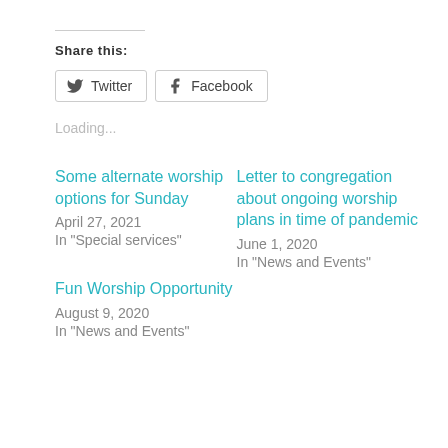Share this:
Twitter  Facebook
Loading...
Some alternate worship options for Sunday
April 27, 2021
In "Special services"
Letter to congregation about ongoing worship plans in time of pandemic
June 1, 2020
In "News and Events"
Fun Worship Opportunity
August 9, 2020
In "News and Events"